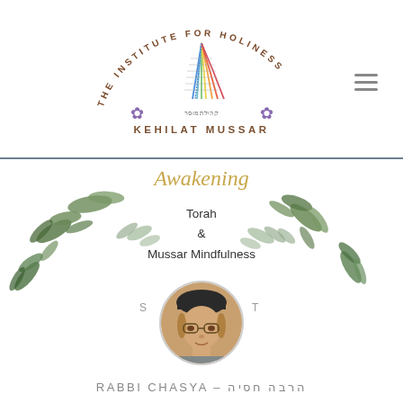[Figure (logo): The Institute for Holiness - Kehilat Mussar logo with rainbow menorah and circular text]
[Figure (illustration): Awakening - Torah & Mussar Mindfulness promotional graphic with floral wreath, portrait of Rabbi Chasya, and decorative gold script]
RABBI CHASYA - הרבה חסיה